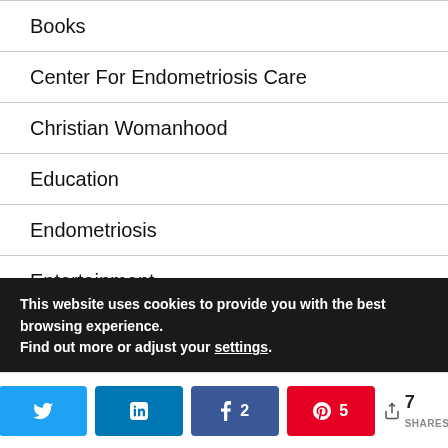Books
Center For Endometriosis Care
Christian Womanhood
Education
Endometriosis
Entertainment
Great Dane Great Life
Great Life
This website uses cookies to provide you with the best browsing experience.
Find out more or adjust your settings.
< 7 SHARES [Twitter] [LinkedIn] [Facebook 2] [Pinterest 5]